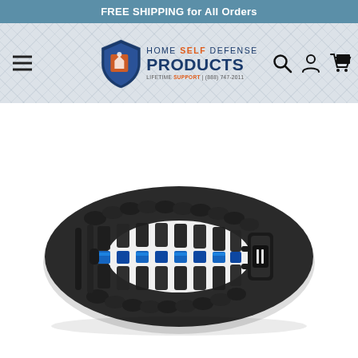FREE SHIPPING for All Orders
[Figure (logo): Home Self Defense Products logo with shield icon, text reads HOME SELF DEFENSE PRODUCTS, LIFETIME SUPPORT (888) 747-2011]
[Figure (photo): Black paracord bracelet with thin blue line stripe running through the center, black plastic buckle clasp, photographed on white background]